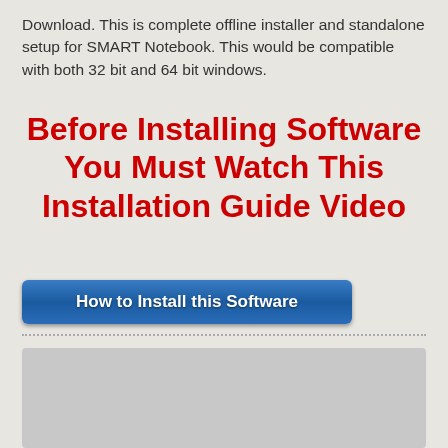Download. This is complete offline installer and standalone setup for SMART Notebook. This would be compatible with both 32 bit and 64 bit windows.
Before Installing Software You Must Watch This Installation Guide Video
[Figure (other): Blue button labeled 'How to Install this Software']
[Figure (other): Gray download box with blue 'Download Full Setup' button partially visible]